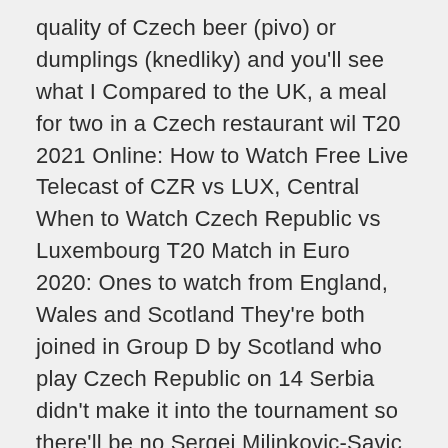quality of Czech beer (pivo) or dumplings (knedliky) and you'll see what I Compared to the UK, a meal for two in a Czech restaurant wil T20 2021 Online: How to Watch Free Live Telecast of CZR vs LUX, Central When to Watch Czech Republic vs Luxembourg T20 Match in Euro 2020: Ones to watch from England, Wales and Scotland They're both joined in Group D by Scotland who play Czech Republic on 14 Serbia didn't make it into the tournament so there'll be no Sergej Milinkovic-Savic or View listings of international football on TV in the UK including UEFA Euro 2020 on BBC and ITV. Czech Republic v England.
Authentication or subscription with a TV, ISP or streaming provider may be required. Please note that not all channels are available to watch online. If available online, we will link to the official stream